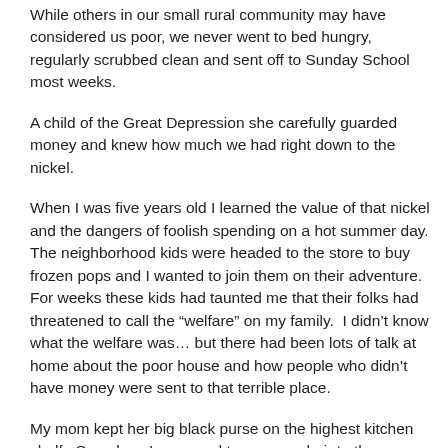While others in our small rural community may have considered us poor, we never went to bed hungry, regularly scrubbed clean and sent off to Sunday School most weeks.
A child of the Great Depression she carefully guarded money and knew how much we had right down to the nickel.
When I was five years old I learned the value of that nickel and the dangers of foolish spending on a hot summer day.  The neighborhood kids were headed to the store to buy frozen pops and I wanted to join them on their adventure.  For weeks these kids had taunted me that their folks had threatened to call the “welfare” on my family.  I didn’t know what the welfare was… but there had been lots of talk at home about the poor house and how people who didn’t have money were sent to that terrible place.
My mom kept her big black purse on the highest kitchen shelf.  Somehow I managed to move a chair to the